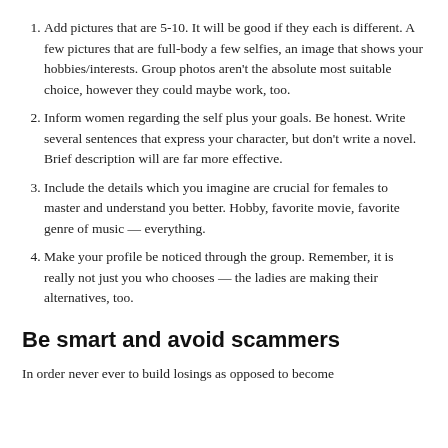Add pictures that are 5-10. It will be good if they each is different. A few pictures that are full-body a few selfies, an image that shows your hobbies/interests. Group photos aren't the absolute most suitable choice, however they could maybe work, too.
Inform women regarding the self plus your goals. Be honest. Write several sentences that express your character, but don't write a novel. Brief description will are far more effective.
Include the details which you imagine are crucial for females to master and understand you better. Hobby, favorite movie, favorite genre of music — everything.
Make your profile be noticed through the group. Remember, it is really not just you who chooses — the ladies are making their alternatives, too.
Be smart and avoid scammers
In order never ever to build losings as opposed to become